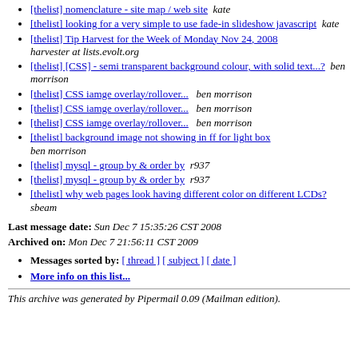[thelist] nomenclature - site map / web site  kate
[thelist] looking for a very simple to use fade-in slideshow javascript  kate
[thelist] Tip Harvest for the Week of Monday Nov 24, 2008  harvester at lists.evolt.org
[thelist] [CSS] - semi transparent background colour, with solid text...?  ben morrison
[thelist] CSS iamge overlay/rollover...  ben morrison
[thelist] CSS iamge overlay/rollover...  ben morrison
[thelist] CSS iamge overlay/rollover...  ben morrison
[thelist] background image not showing in ff for light box  ben morrison
[thelist] mysql - group by & order by  r937
[thelist] mysql - group by & order by  r937
[thelist] why web pages look having different color on different LCDs?  sbeam
Last message date: Sun Dec 7 15:35:26 CST 2008
Archived on: Mon Dec 7 21:56:11 CST 2009
Messages sorted by: [ thread ] [ subject ] [ date ]
More info on this list...
This archive was generated by Pipermail 0.09 (Mailman edition).